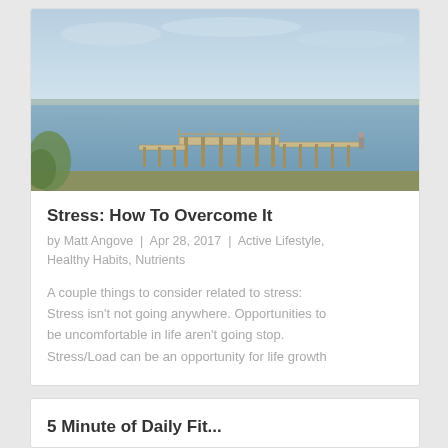[Figure (photo): Photograph of a wooden dock/pier extending over a calm body of water with sky and distant shoreline in background]
Stress: How To Overcome It
by Matt Angove | Apr 28, 2017 | Active Lifestyle, Healthy Habits, Nutrients
A couple things to consider related to stress: Stress isn't not going anywhere. Opportunities to be uncomfortable in life aren't going stop. Stress/Load can be an opportunity for life growth
5 Minute of Daily Fit...